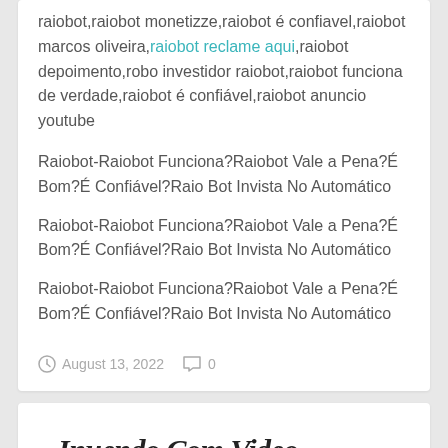raiobot,raiobot monetizze,raiobot é confiavel,raiobot marcos oliveira,raiobot reclame aqui,raiobot depoimento,robo investidor raiobot,raiobot funciona de verdade,raiobot é confiável,raiobot anuncio youtube
Raiobot-Raiobot Funciona?Raiobot Vale a Pena?É Bom?É Confiável?Raio Bot Invista No Automático
Raiobot-Raiobot Funciona?Raiobot Vale a Pena?É Bom?É Confiável?Raio Bot Invista No Automático
Raiobot-Raiobot Funciona?Raiobot Vale a Pena?É Bom?É Confiável?Raio Bot Invista No Automático
August 13, 2022   0
Inuendo Com Video...